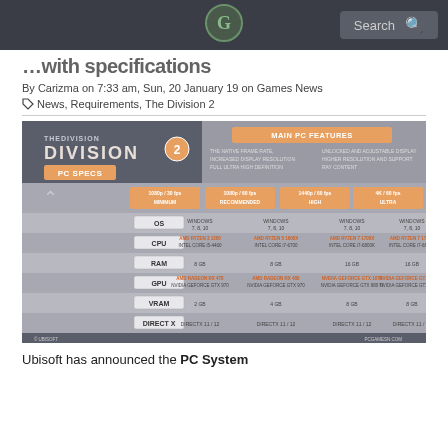Search
…with specifications
By Carizma on 7:33 am, Sun, 20 January 19 on Games News
News, Requirements, The Division 2
[Figure (infographic): The Division 2 PC Specs infographic showing system requirements across four tiers: 1080p/30fps Minimum, 1080p/60fps Recommended, 1440p/60fps High, and 4K/60fps Ultra. Rows include OS, CPU, RAM, GPU, VRAM, and DirectX requirements.]
Ubisoft has announced the PC System requirements…